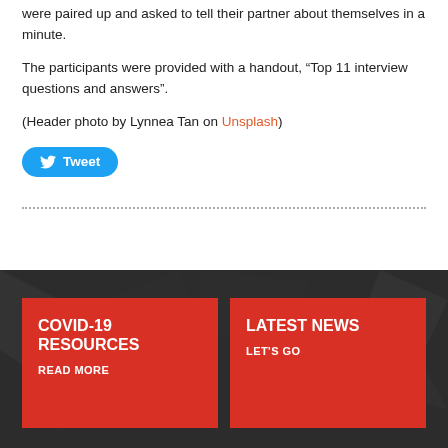were paired up and asked to tell their partner about themselves in a minute.
The participants were provided with a handout, “Top 11 interview questions and answers”.
(Header photo by Lynnea Tan on Unsplash)
[Figure (other): Tweet button with Twitter bird icon]
COVID-19 RESOURCES
READ MORE
LATEST NEWS
LET'S GO